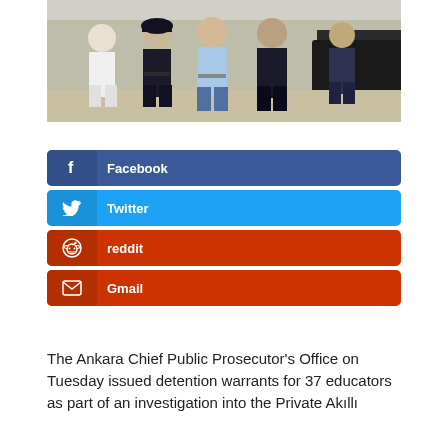[Figure (photo): Police officers escorting detained individuals, outdoor scene with multiple people in custody surrounded by officers in dark uniforms.]
[Figure (infographic): Social media share buttons for Facebook (blue), Twitter (cyan), reddit (red-orange), and Gmail (red-orange).]
The Ankara Chief Public Prosecutor's Office on Tuesday issued detention warrants for 37 educators as part of an investigation into the Private Akıllı